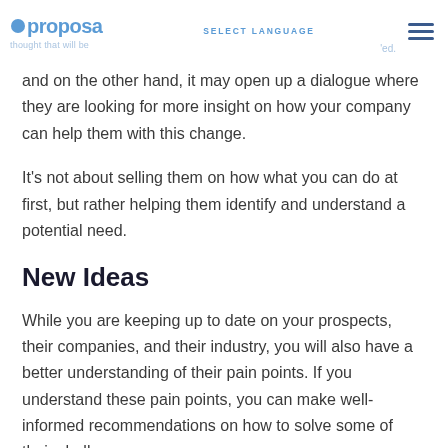proposa | SELECT LANGUAGE
thought that will be
ed.
and on the other hand, it may open up a dialogue where they are looking for more insight on how your company can help them with this change.
It's not about selling them on how what you can do at first, but rather helping them identify and understand a potential need.
New Ideas
While you are keeping up to date on your prospects, their companies, and their industry, you will also have a better understanding of their pain points. If you understand these pain points, you can make well-informed recommendations on how to solve some of their challenges.